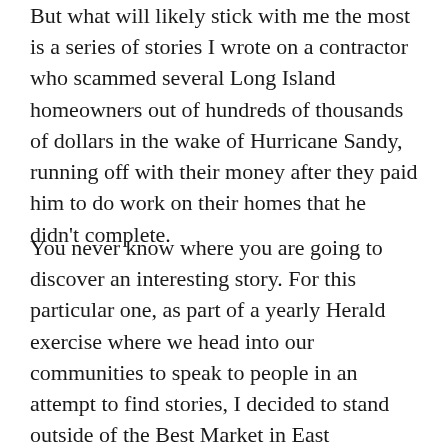But what will likely stick with me the most is a series of stories I wrote on a contractor who scammed several Long Island homeowners out of hundreds of thousands of dollars in the wake of Hurricane Sandy, running off with their money after they paid him to do work on their homes that he didn't complete.
You never know where you are going to discover an interesting story. For this particular one, as part of a yearly Herald exercise where we head into our communities to speak to people in an attempt to find stories, I decided to stand outside of the Best Market in East Rockaway. I introduced myself to shoppers as they came out of the store, their carts filled with groceries, and asked them if they had any notable stories or tidbits. After striking out for a few hours, I was all but ready to give up. Then this couple finally told me about the issues they